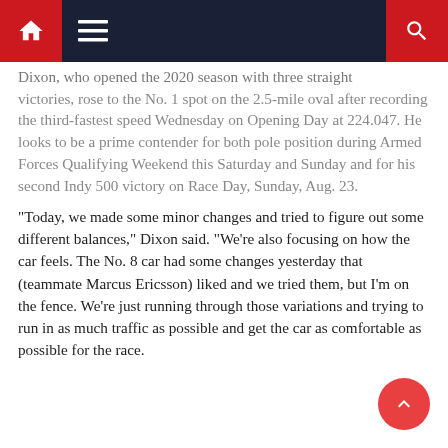Navigation bar with home, menu, and search icons
Dixon, who opened the 2020 season with three straight victories, rose to the No. 1 spot on the 2.5-mile oval after recording the third-fastest speed Wednesday on Opening Day at 224.047. He looks to be a prime contender for both pole position during Armed Forces Qualifying Weekend this Saturday and Sunday and for his second Indy 500 victory on Race Day, Sunday, Aug. 23.
“Today, we made some minor changes and tried to figure out some different balances,” Dixon said. “We’re also focusing on how the car feels. The No. 8 car had some changes yesterday that (teammate Marcus Ericsson) liked and we tried them, but I’m on the fence. We’re just running through those variations and trying to run in as much traffic as possible and get the car as comfortable as possible for the race.